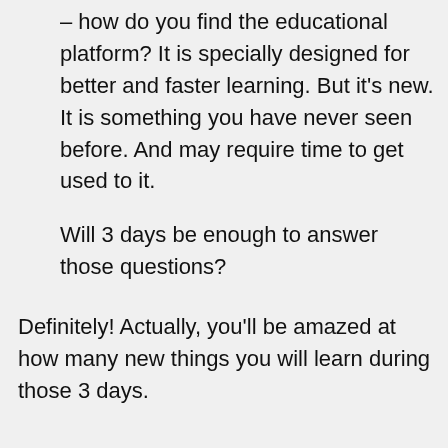– how do you find the educational platform? It is specially designed for better and faster learning. But it's new. It is something you have never seen before. And may require time to get used to it.
Will 3 days be enough to answer those questions?
Definitely! Actually, you'll be amazed at how many new things you will learn during those 3 days.
Why there is such a big difference between